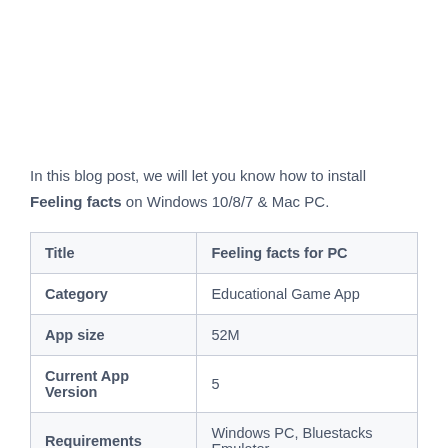In this blog post, we will let you know how to install Feeling facts on Windows 10/8/7 & Mac PC.
| Title | Feeling facts for PC |
| --- | --- |
| Category | Educational Game App |
| App size | 52M |
| Current App Version | 5 |
| Requirements | Windows PC, Bluestacks Emulator |